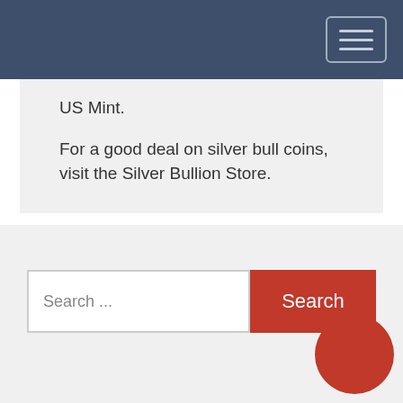Navigation bar with hamburger menu
US Mint.
For a good deal on silver bull coins, visit the Silver Bullion Store.
Search ...